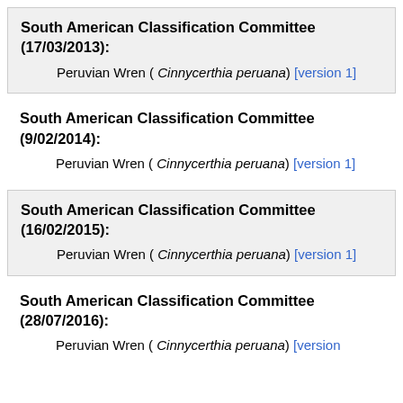South American Classification Committee (17/03/2013):
Peruvian Wren ( Cinnycerthia peruana) [version 1]
South American Classification Committee (9/02/2014):
Peruvian Wren ( Cinnycerthia peruana) [version 1]
South American Classification Committee (16/02/2015):
Peruvian Wren ( Cinnycerthia peruana) [version 1]
South American Classification Committee (28/07/2016):
Peruvian Wren ( Cinnycerthia peruana) [version